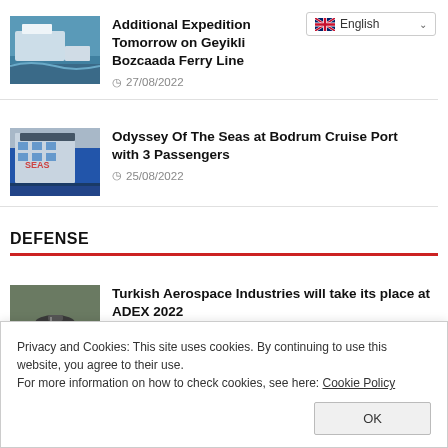[Figure (screenshot): Language selector dropdown showing English with flag icon]
[Figure (photo): Ferry boat on water for Geyikli Bozcaada Ferry Line article]
Additional Expedition Tomorrow on Geyikli Bozcaada Ferry Line
27/08/2022
[Figure (photo): Large cruise ship at port for Odyssey Of The Seas article]
Odyssey Of The Seas at Bodrum Cruise Port with 3 Passengers
25/08/2022
DEFENSE
[Figure (photo): Aircraft on airfield for Turkish Aerospace Industries article]
Turkish Aerospace Industries will take its place at ADEX 2022
Privacy and Cookies: This site uses cookies. By continuing to use this website, you agree to their use.
For more information on how to check cookies, see here: Cookie Policy